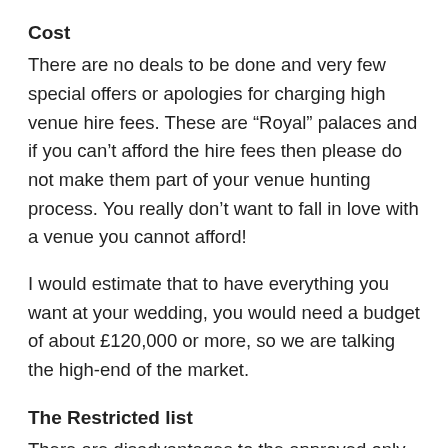Cost
There are no deals to be done and very few special offers or apologies for charging high venue hire fees. These are “Royal” palaces and if you can’t afford the hire fees then please do not make them part of your venue hunting process. You really don’t want to fall in love with a venue you cannot afford!
I would estimate that to have everything you want at your wedding, you would need a budget of about £120,000 or more, so we are talking the high-end of the market.
The Restricted list
There are disadvantages to the approved only suppliers list. They are amongst the best and most often this will mean they are not the cheapest. They also know who they are competing against and will know what their